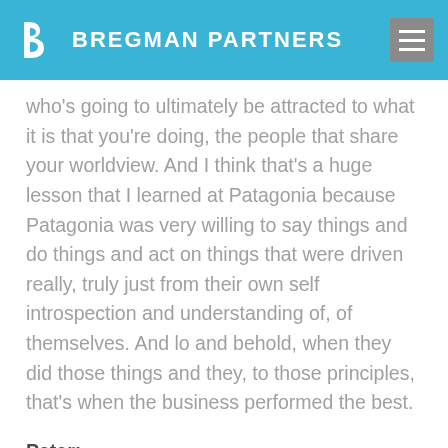BREGMAN PARTNERS
who's going to ultimately be attracted to what it is that you're doing, the people that share your worldview. And I think that's a huge lesson that I learned at Patagonia because Patagonia was very willing to say things and do things and act on things that were driven really, truly just from their own self introspection and understanding of, of themselves. And lo and behold, when they did those things and they, to those principles, that's when the business performed the best.
Peter:
So what do you say to someone who would say